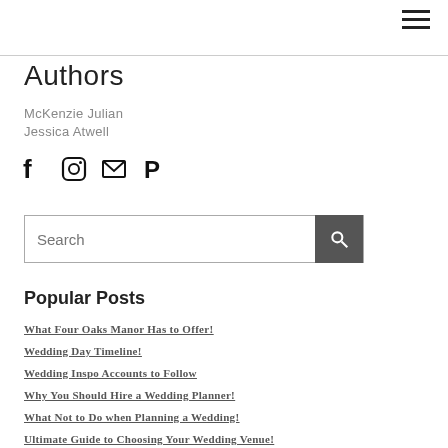≡
Authors
McKenzie Julian
Jessica Atwell
[Figure (infographic): Social media icons: Facebook, Instagram, Email/Mail, Pinterest]
Search
Popular Posts
What Four Oaks Manor Has to Offer!
Wedding Day Timeline!
Wedding Inspo Accounts to Follow
Why You Should Hire a Wedding Planner!
What Not to Do when Planning a Wedding!
Ultimate Guide to Choosing Your Wedding Venue!